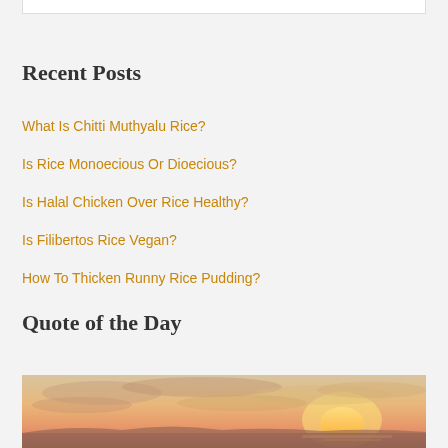Recent Posts
What Is Chitti Muthyalu Rice?
Is Rice Monoecious Or Dioecious?
Is Halal Chicken Over Rice Healthy?
Is Filibertos Rice Vegan?
How To Thicken Runny Rice Pudding?
Quote of the Day
[Figure (photo): A sunset over the ocean with warm orange and pink tones in the sky and clouds]